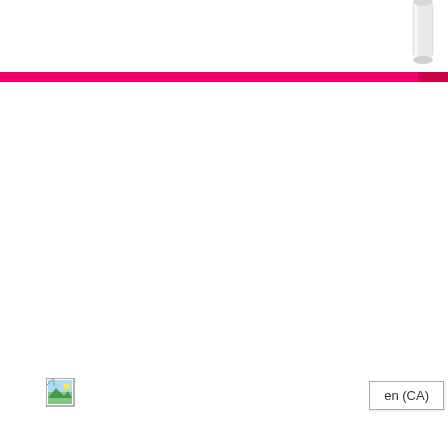[Figure (other): Pink/magenta horizontal bar with a small red square on the right end and a partial view of a white cylindrical object (pen or marker) at top right]
[Figure (other): Small broken image placeholder icon (document with green landscape image) in the left-center area of the page]
en (CA)